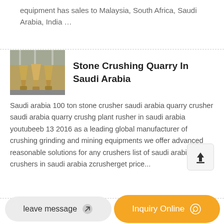equipment has sales to Malaysia, South Africa, Saudi Arabia, India …
Stone Crushing Quarry In Saudi Arabia
Saudi arabia 100 ton stone crusher saudi arabia quarry crusher saudi arabia quarry crushg plant rusher in saudi arabia youtubeeb 13 2016 as a leading global manufacturer of crushing grinding and mining equipments we offer advanced reasonable solutions for any crushers list of saudi arabia stone crushers in saudi arabia zcrusherget price...
leave message
Inquiry Online